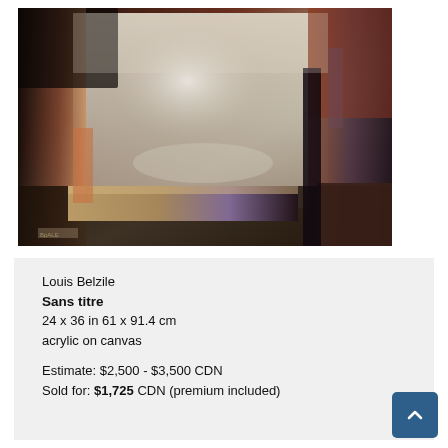[Figure (photo): Abstract acrylic painting on canvas by Louis Belzile titled 'Sans titre'. The painting features muted warm tones of rust, brown, and grey with an abstract interior scene suggesting a doorway or window with architectural elements.]
Louis Belzile
Sans titre
24 x 36 in 61 x 91.4 cm
acrylic on canvas
Estimate: $2,500 - $3,500 CDN
Sold for: $1,725 CDN (premium included)